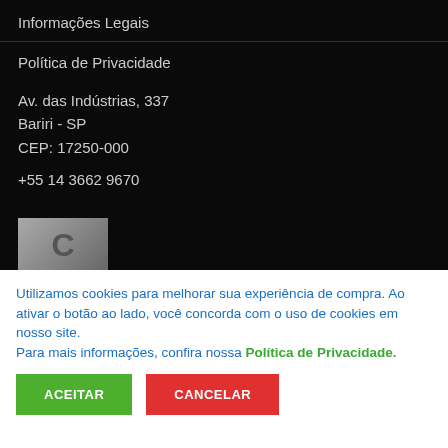Informações Legais
Política de Privacidade
Av. das Indústrias, 337
Bariri - SP
CEP: 17250-000
+55 14 3662 9670
[Figure (logo): Gray logo thumbnail with letter C]
Utilizamos cookies para melhorar sua experiência de compra. Ao ativar o botão ao lado, você concorda com o uso de cookies em nosso site.
Para mais informações, confira nossa Política de Privacidade.
ACEITAR
CANCELAR